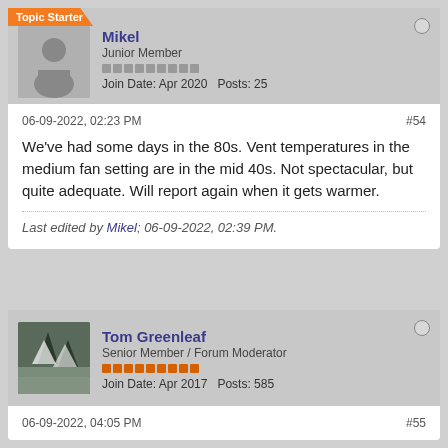Topic Starter
Mikel
Junior Member
Join Date: Apr 2020   Posts: 25
06-09-2022, 02:23 PM
#54
We've had some days in the 80s. Vent temperatures in the medium fan setting are in the mid 40s. Not spectacular, but quite adequate. Will report again when it gets warmer.
Last edited by Mikel; 06-09-2022, 02:39 PM.
Tom Greenleaf
Senior Member / Forum Moderator
Join Date: Apr 2017   Posts: 585
06-09-2022, 04:05 PM
#55